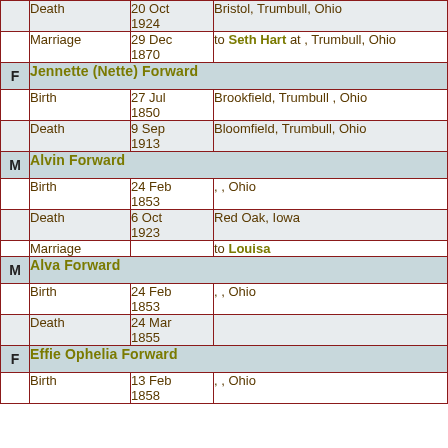| Sex | Event | Date | Place |
| --- | --- | --- | --- |
|  | Death | 20 Oct 1924 | Bristol, Trumbull, Ohio |
|  | Marriage | 29 Dec 1870 | to Seth Hart at , Trumbull, Ohio |
| F | Jennette (Nette) Forward |  |  |
|  | Birth | 27 Jul 1850 | Brookfield, Trumbull , Ohio |
|  | Death | 9 Sep 1913 | Bloomfield, Trumbull, Ohio |
| M | Alvin Forward |  |  |
|  | Birth | 24 Feb 1853 | , , Ohio |
|  | Death | 6 Oct 1923 | Red Oak, Iowa |
|  | Marriage |  | to Louisa |
| M | Alva Forward |  |  |
|  | Birth | 24 Feb 1853 | , , Ohio |
|  | Death | 24 Mar 1855 |  |
| F | Effie Ophelia Forward |  |  |
|  | Birth | 13 Feb 1858 | , , Ohio |